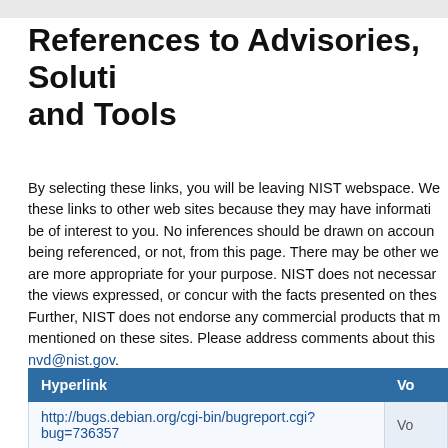References to Advisories, Solutions, and Tools
By selecting these links, you will be leaving NIST webspace. We have provided these links to other web sites because they may have information that would be of interest to you. No inferences should be drawn on account of other sites being referenced, or not, from this page. There may be other web sites that are more appropriate for your purpose. NIST does not necessarily endorse the views expressed, or concur with the facts presented on these sites. Further, NIST does not endorse any commercial products that may be mentioned on these sites. Please address comments about this page to nvd@nist.gov.
| Hyperlink |  |
| --- | --- |
| http://bugs.debian.org/cgi-bin/bugreport.cgi?bug=736357 | Vo |